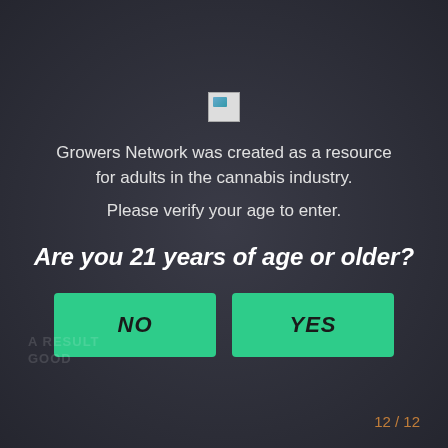[Figure (logo): Broken image placeholder (logo area for Growers Network)]
Growers Network was created as a resource for adults in the cannabis industry.
Please verify your age to enter.
Are you 21 years of age or older?
NO   YES
12 / 12